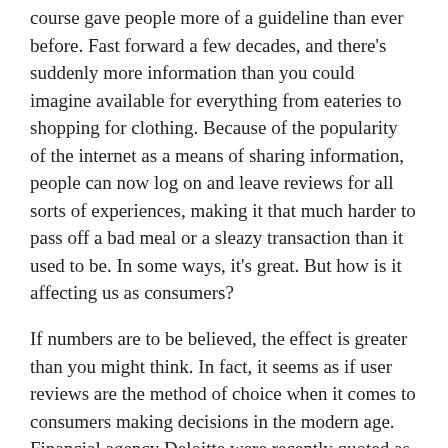course gave people more of a guideline than ever before. Fast forward a few decades, and there's suddenly more information than you could imagine available for everything from eateries to shopping for clothing. Because of the popularity of the internet as a means of sharing information, people can now log on and leave reviews for all sorts of experiences, making it that much harder to pass off a bad meal or a sleazy transaction than it used to be. In some ways, it's great. But how is it affecting us as consumers?
If numbers are to be believed, the effect is greater than you might think. In fact, it seems as if user reviews are the method of choice when it comes to consumers making decisions in the modern age. Financial agency Deloitte were recently quoted as saying that:
‘82% (of consumers) say their purchase decisions have been directly influenced by the user reviews, either influencing them to buy a different product than the one they had originally been thinking about